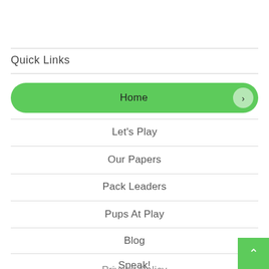Quick Links
Home
Let's Play
Our Papers
Pack Leaders
Pups At Play
Blog
Speak!
Privacy Policy